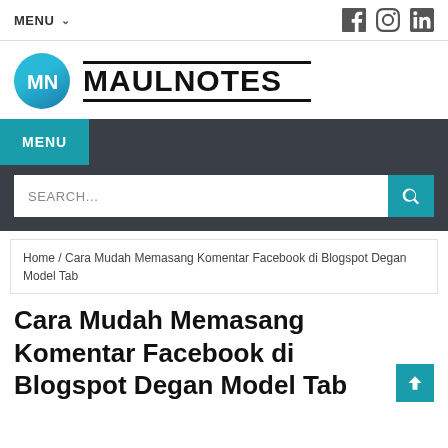MENU  [social icons: Facebook, Instagram, LinkedIn]
[Figure (logo): Maulnotes logo: circular blue MN icon with MAULNOTES text in bold black with overline and underline]
MENU
SEARCH...
Home / Cara Mudah Memasang Komentar Facebook di Blogspot Degan Model Tab
Cara Mudah Memasang Komentar Facebook di Blogspot Degan Model Tab